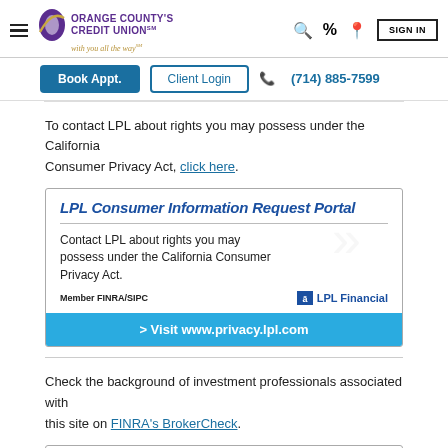Orange County's Credit Union — with you all the way
Book Appt. | Client Login | (714) 885-7599
To contact LPL about rights you may possess under the California Consumer Privacy Act, click here.
[Figure (other): LPL Consumer Information Request Portal box with title, description text 'Contact LPL about rights you may possess under the California Consumer Privacy Act.', Member FINRA/SIPC, LPL Financial logo, and blue bar showing '> Visit www.privacy.lpl.com']
Check the background of investment professionals associated with this site on FINRA's BrokerCheck.